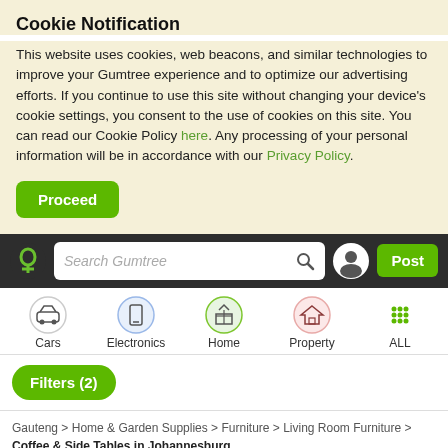Cookie Notification
This website uses cookies, web beacons, and similar technologies to improve your Gumtree experience and to optimize our advertising efforts. If you continue to use this site without changing your device's cookie settings, you consent to the use of cookies on this site. You can read our Cookie Policy here. Any processing of your personal information will be in accordance with our Privacy Policy.
Proceed
[Figure (screenshot): Gumtree navigation bar with logo, search box reading 'Search Gumtree', account icon, and green 'Post' button on dark background]
[Figure (infographic): Category icons row: Cars (car icon, green circle), Electronics (phone icon, blue circle), Home (BBQ icon, green circle), Property (house icon, pink circle), ALL (grid dots)]
Filters (2)
Gauteng > Home & Garden Supplies > Furniture > Living Room Furniture > Coffee & Side Tables in Johannesburg
64
Post FREE Ad